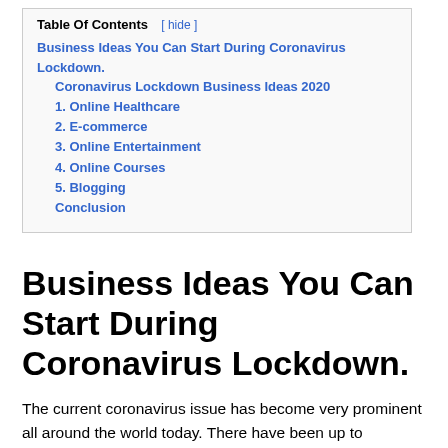Table Of Contents [ hide ]
Business Ideas You Can Start During Coronavirus Lockdown.
Coronavirus Lockdown Business Ideas 2020
1. Online Healthcare
2. E-commerce
3. Online Entertainment
4. Online Courses
5. Blogging
Conclusion
Business Ideas You Can Start During Coronavirus Lockdown.
The current coronavirus issue has become very prominent all around the world today. There have been up to hundreds of thousands of coronavirus cases, globally.